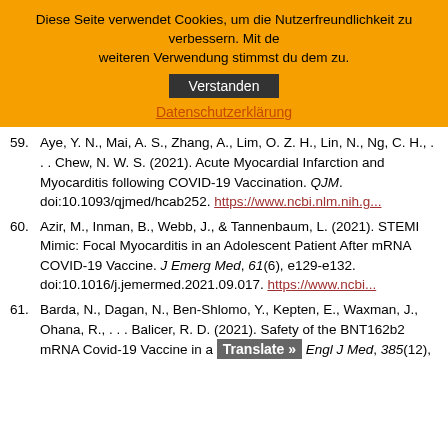Diese Seite verwendet Cookies, um die Nutzerfreundlichkeit zu verbessern. Mit der weiteren Verwendung stimmst du dem zu.
Verstanden
Datenschutzerklärung
59. Aye, Y. N., Mai, A. S., Zhang, A., Lim, O. Z. H., Lin, N., Ng, C. H., . . . Chew, N. W. S. (2021). Acute Myocardial Infarction and Myocarditis following COVID-19 Vaccination. QJM. doi:10.1093/qjmed/hcab252. https://www.ncbi.nlm.nih.g...
60. Azir, M., Inman, B., Webb, J., & Tannenbaum, L. (2021). STEMI Mimic: Focal Myocarditis in an Adolescent Patient After mRNA COVID-19 Vaccine. J Emerg Med, 61(6), e129-e132. doi:10.1016/j.jemermed.2021.09.017. https://www.ncbi...
61. Barda, N., Dagan, N., Ben-Shlomo, Y., Kepten, E., Waxman, J., Ohana, R., . . . Balicer, R. D. (2021). Safety of the BNT162b2 mRNA Covid-19 Vaccine in a ... Engl J Med, 385(12),